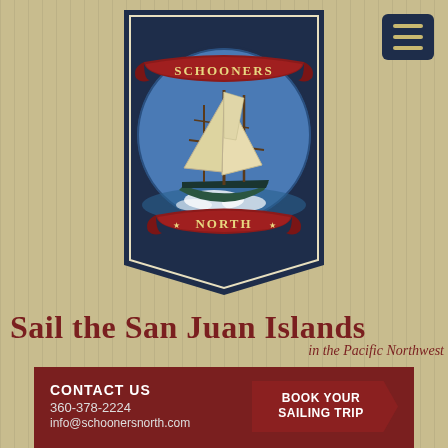[Figure (logo): Schooners North circular logo with a sailing schooner on blue background, red banner ribbons reading SCHOONERS on top and NORTH on bottom, mounted on a dark navy pennant/banner shape]
Sail the San Juan Islands in the Pacific Northwest
CONTACT US
360-378-2224
info@schoonersnorth.com
BOOK YOUR SAILING TRIP